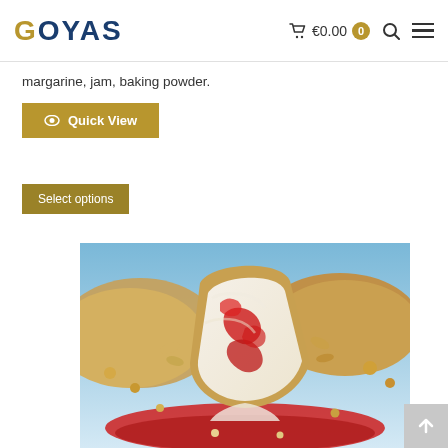GOYAS — €0.00 (0)
margarine, jam, baking powder.
Quick View
Select options
[Figure (photo): Close-up photo of a sliced pastry/cake roll filled with cream and raspberry jam, with nuts, against a blue sky background.]